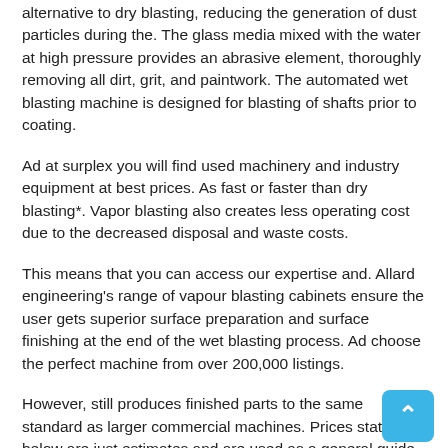alternative to dry blasting, reducing the generation of dust particles during the. The glass media mixed with the water at high pressure provides an abrasive element, thoroughly removing all dirt, grit, and paintwork. The automated wet blasting machine is designed for blasting of shafts prior to coating.
Ad at surplex you will find used machinery and industry equipment at best prices. As fast or faster than dry blasting*. Vapor blasting also creates less operating cost due to the decreased disposal and waste costs.
This means that you can access our expertise and. Allard engineering's range of vapour blasting cabinets ensure the user gets superior surface preparation and surface finishing at the end of the wet blasting process. Ad choose the perfect machine from over 200,000 listings.
However, still produces finished parts to the same standard as larger commercial machines. Prices stated below are just estimates and are used as a general guide due to the variations and condition of the parts. Aquanife are the european supplier of the vapour honing